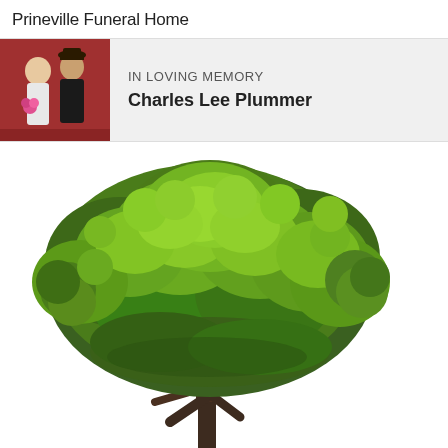Prineville Funeral Home
IN LOVING MEMORY
Charles Lee Plummer
[Figure (photo): A large green deciduous tree with full leafy canopy on a white background, photographed from a low angle showing the trunk and spreading branches.]